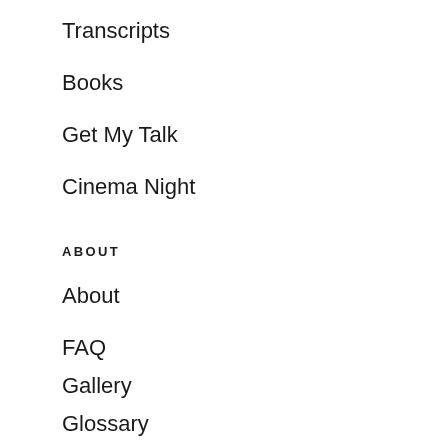Transcripts
Books
Get My Talk
Cinema Night
ABOUT
About
FAQ
Gallery
Glossary
Presskit